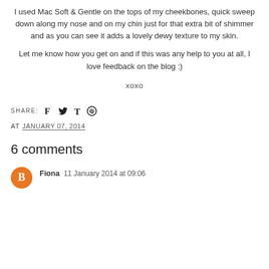I used Mac Soft & Gentle on the tops of my cheekbones, quick sweep down along my nose and on my chin just for that extra bit of shimmer and as you can see it adds a lovely dewy texture to my skin.
Let me know how you get on and if this was any help to you at all, I love feedback on the blog :)
xoxo
SHARE: [social icons: facebook, twitter, tumblr, pinterest]
AT JANUARY 07, 2014
6 comments
Fiona 11 January 2014 at 09:06